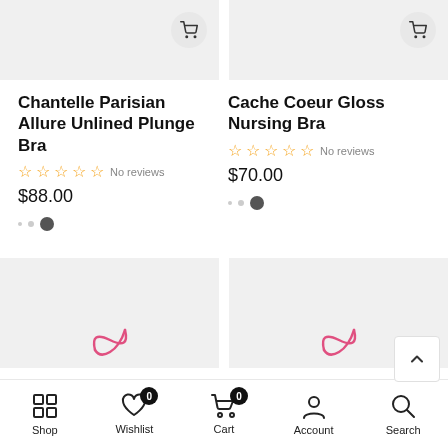[Figure (screenshot): Top portion of two product image placeholders with cart buttons]
Chantelle Parisian Allure Unlined Plunge Bra
☆☆☆☆☆ No reviews
$88.00
Cache Coeur Gloss Nursing Bra
☆☆☆☆☆ No reviews
$70.00
[Figure (screenshot): Bottom product image placeholders with swirl logos]
Shop   Wishlist 0   Cart 0   Account   Search